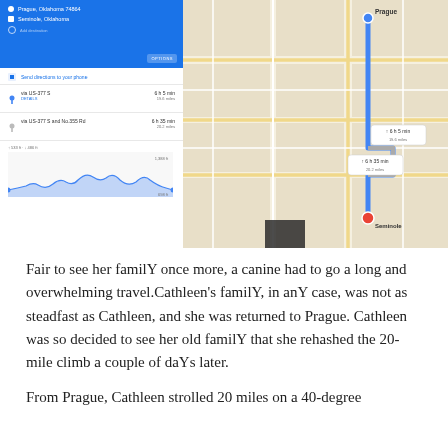[Figure (screenshot): Google Maps directions screenshot showing route from Prague, Oklahoma to Seminole, Oklahoma. Left panel shows blue header with origin/destination, route options via US-377 S with 6h 5 min / 19.6 miles and via US-377 S and No.355 Rd with 6h 35 min / 20.2 miles, and an elevation chart. Right panel shows a map with the route drawn in blue from Prague (top) to Seminole (bottom with red marker).]
Fair to see her familY once more, a canine had to go a long and overwhelming travel.Cathleen’s familY, in anY case, was not as steadfast as Cathleen, and she was returned to Prague. Cathleen was so decided to see her old familY that she rehashed the 20-mile climb a couple of daYs later.
From Prague, Cathleen strolled 20 miles on a 40-degree